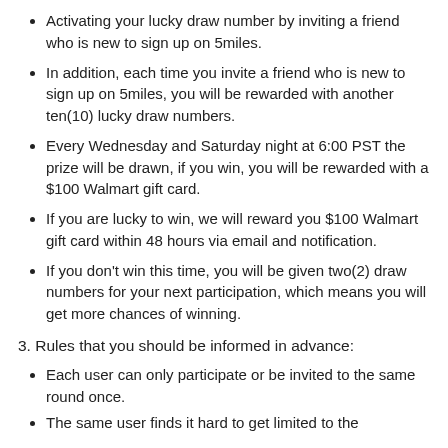Activating your lucky draw number by inviting a friend who is new to sign up on 5miles.
In addition, each time you invite a friend who is new to sign up on 5miles, you will be rewarded with another ten(10) lucky draw numbers.
Every Wednesday and Saturday night at 6:00 PST the prize will be drawn, if you win, you will be rewarded with a $100 Walmart gift card.
If you are lucky to win, we will reward you $100 Walmart gift card within 48 hours via email and notification.
If you don't win this time, you will be given two(2) draw numbers for your next participation, which means you will get more chances of winning.
3. Rules that you should be informed in advance:
Each user can only participate or be invited to the same round once.
The same user finds it hard to get limited to the